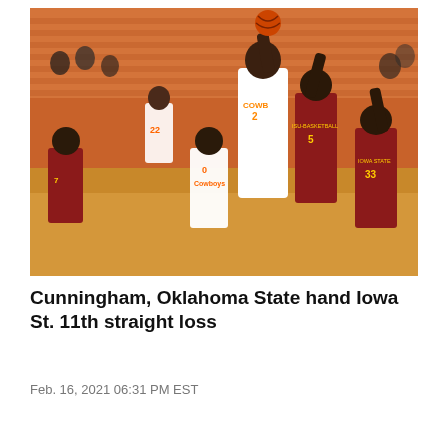[Figure (photo): Basketball game photo: Oklahoma State Cowboys player #2 (Cade Cunningham) shooting over Iowa State defenders, including player #5 and #33, during a college basketball game in an orange-seated arena.]
Cunningham, Oklahoma State hand Iowa St. 11th straight loss
Feb. 16, 2021 06:31 PM EST